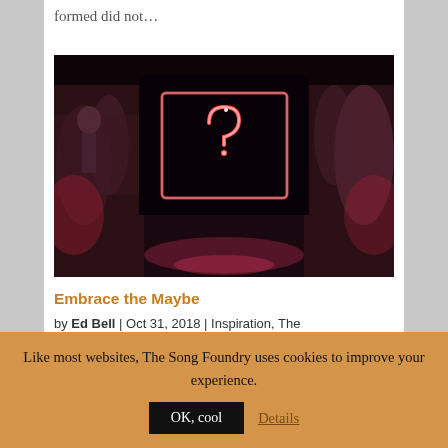formed did not…
[Figure (photo): Dark tunnel/underpass with graffiti on walls, featuring a glowing neon light-painted question mark inside a box shape in the center. The floor reflects reddish/pink light.]
Embrace the Maybe
by Ed Bell | Oct 31, 2018 | Inspiration, The
Like most websites, The Song Foundry uses cookies to improve your experience.
OK, cool
Details